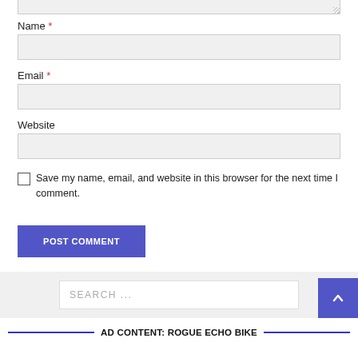Name *
Email *
Website
Save my name, email, and website in this browser for the next time I comment.
POST COMMENT
SEARCH ...
AD CONTENT: ROGUE ECHO BIKE